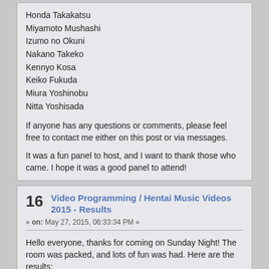Honda Takakatsu
Miyamoto Mushashi
Izumo no Okuni
Nakano Takeko
Kennyo Kosa
Keiko Fukuda
Miura Yoshinobu
Nitta Yoshisada
If anyone has any questions or comments, please feel free to contact me either on this post or via messages.
It was a fun panel to host, and I want to thank those who came. I hope it was a good panel to attend!
16   Video Programming / Hentai Music Videos 2015 - Results
« on: May 27, 2015, 06:33:34 PM »
Hello everyone, thanks for coming on Sunday Night! The room was packed, and lots of fun was had. Here are the results:
WINNER - AUDIENCE FAVORITE: Xophilarus, ShinAMV, GuntherAMVs (3-way collab) - Giggles n Jiggls
WINNER - CONTEST DIRECTOR'S PICK : WSF productions - A History of Fujiko
Remaining Entries:
Big Z - The Walking HMV
Joseph Croasdaile (Maboroshi Studio) - Nom Nom Nom Nom